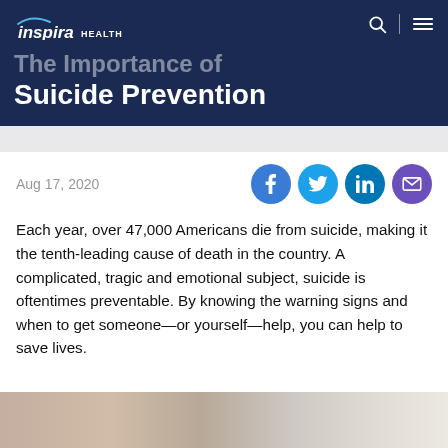inspira HEALTH
The Importance of Suicide Prevention
Aug 17, 2020
Each year, over 47,000 Americans die from suicide, making it the tenth-leading cause of death in the country. A complicated, tragic and emotional subject, suicide is oftentimes preventable. By knowing the warning signs and when to get someone—or yourself—help, you can help to save lives.
[Figure (photo): Partial photo of two people at the bottom of the page]